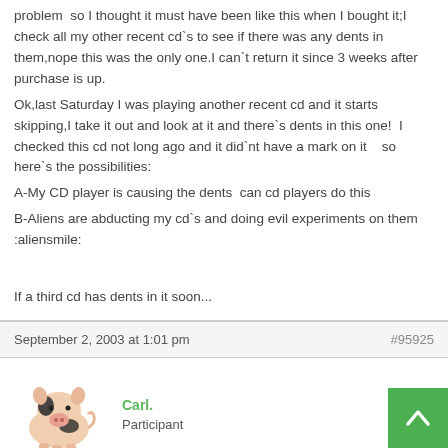problem  so I thought it must have been like this when I bought it;I check all my other recent cd`s to see if there was any dents in them,nope this was the only one.I can`t return it since 3 weeks after purchase is up.
Ok,last Saturday I was playing another recent cd and it starts skipping,I take it out and look at it and there`s dents in this one!  I checked this cd not long ago and it did`nt have a mark on it    so here`s the possibilities:
A-My CD player is causing the dents  can cd players do this
B-Aliens are abducting my cd`s and doing evil experiments on them :aliensmile:

If a third cd has dents in it soon...
September 2, 2003 at 1:01 pm   #95925
[Figure (photo): Avatar of user Carl - a toy pig figurine, black and white spotted]
Carl.
Participant
Well, since aliens prefer anal probing, and CD's do not have anuses, I would have to assume that it is the CD-Player.. is there another cd-player you can play CD's on??